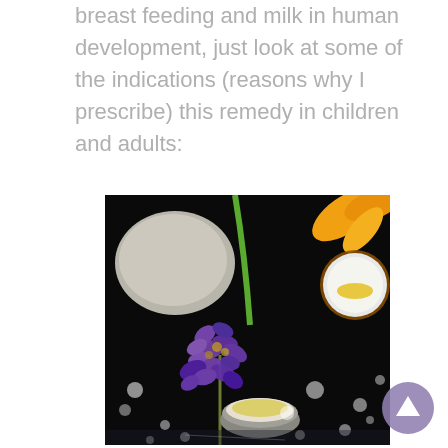breast feeding and milk in human development, just look at some of the indications (reasons why I prescribe) this remedy in children and adults:
[Figure (photo): Dark background photo showing purple lavender flowers, smooth stone, small tealight candles with yellow wax, an amber bottle cap, and scattered small white bokeh lights/spheres on a reflective black surface.]